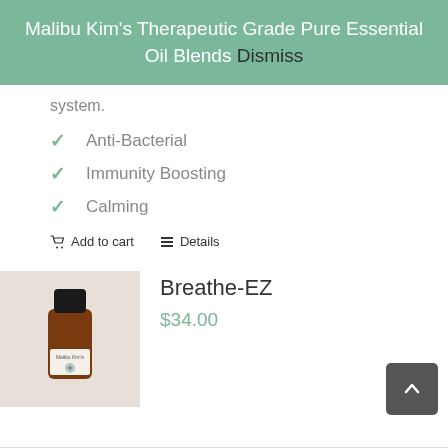Malibu Kim's Therapeutic Grade Pure Essential Oil Blends Dismiss
system.
Anti-Bacterial
Immunity Boosting
Calming
Add to cart   Details
[Figure (photo): Amber glass essential oil bottle with black cap and Malibu Kim's label]
Breathe-EZ
$34.00